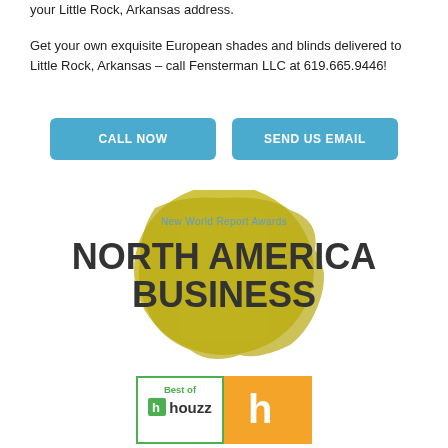your Little Rock, Arkansas address.
Get your own exquisite European shades and blinds delivered to Little Rock, Arkansas – call Fensterman LLC at 619.665.9446!
[Figure (other): Two call-to-action buttons: 'CALL NOW' and 'SEND US EMAIL' in light blue rounded rectangles]
[Figure (other): North America Business award logo with yellow/olive map silhouette of North America, 'New World Report Awards' text, and large bold text 'NORTH AMERICA BUSINESS']
[Figure (other): Two Houzz badges: 'Best of houzz' with green border and an orange Houzz badge]